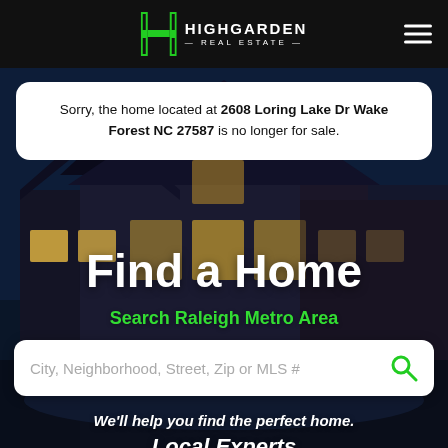[Figure (screenshot): Highgarden Real Estate website screenshot showing a nighttime house background image with a dark blue overlay]
HIGHGARDEN REAL ESTATE
Sorry, the home located at 2608 Loring Lake Dr Wake Forest NC 27587 is no longer for sale.
Find a Home
Search Raleigh Metro Area
City, Neighborhood, Street, Zip or MLS #
We'll help you find the perfect home.
Local Experts